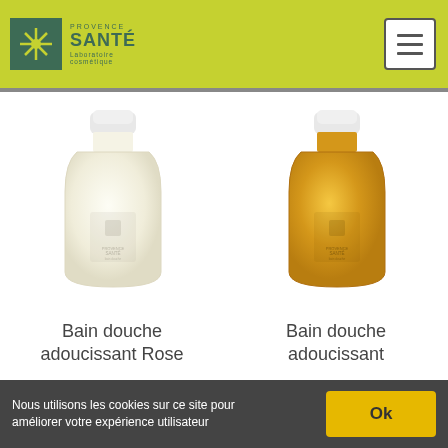[Figure (logo): Provence Santé Laboratoire Cosmétique logo with sun/star icon on green background]
[Figure (illustration): Bain douche adoucissant Rose - clear plastic bottle with white cap containing light cream/white liquid]
Bain douche adoucissant Rose
19,95 €
[Figure (illustration): Bain douche adoucissant - clear plastic bottle with white cap containing golden/amber liquid]
Bain douche adoucissant
19,95 €
Nous utilisons les cookies sur ce site pour améliorer votre expérience utilisateur